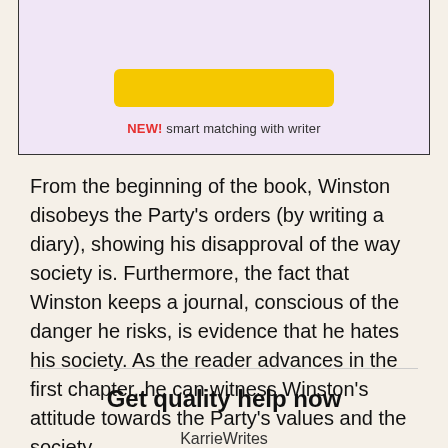[Figure (screenshot): Top banner with lavender/purple background, a yellow button, and 'NEW! smart matching with writer' text in red and black]
From the beginning of the book, Winston disobeys the Party's orders (by writing a diary), showing his disapproval of the way society is. Furthermore, the fact that Winston keeps a journal, conscious of the danger he risks, is evidence that he hates his society. As the reader advances in the first chapter, he can witness Winston's attitude towards the Party's values and the society.
Get quality help now
KarrieWrites